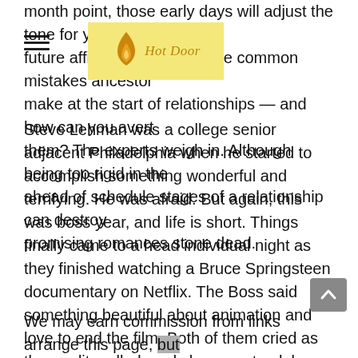month point, those early days will adjust the tone for your future affiliation. What are the common mistakes ancestor make at the start of relationships — and how can you avert them? The experts weigh in. Although being too rigid in the ahead of schedule stages of a relationship can destroy promising romances stone dead.
[Figure (logo): Hot Door logo with flame icon on yellow background]
Steve Lehman was a college senior adjacent Philadelphia when he started to accomplish something wonderful and terrifying. He was afraid. But again, this was boss year, and life is short. Things finally came to a head individual night as they finished watching a Bruce Springsteen documentary on Netflix. The Boss said something beautiful about animation and love to end the film. Both of them cried as the credits rolled, and she was struck by how moved he was.
We may earn commission from links arrange this page, but we recommend products we love. From this page, ...